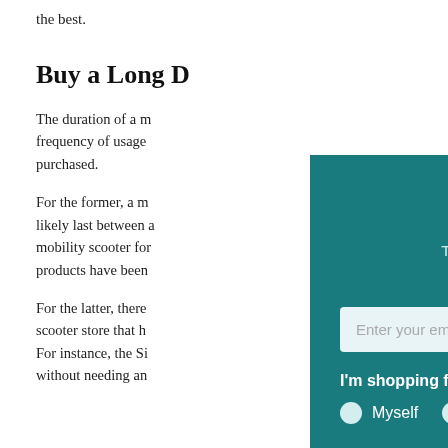the best.
Buy a Long D
The duration of a m frequency of usage purchased.
For the former, a m likely last between a mobility scooter for products have been
For the latter, there scooter store that h For instance, the Si without needing an
Just for You
Take 5% off your first order when you s for our newsletter
Enter your email address
I'm shopping for:
Myself
Someone else
Sign up for free